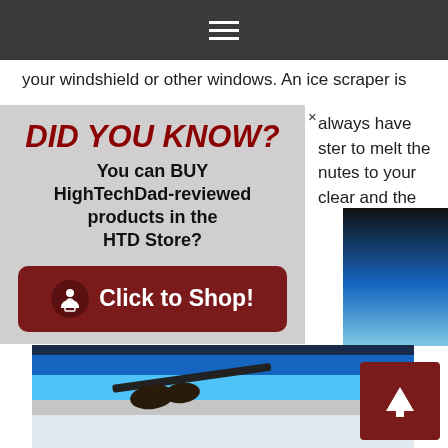[Figure (screenshot): Dark navigation bar with hamburger menu icon (three horizontal white lines) centered on dark gray background]
your windshield or other windows. An ice scraper is
always have
ster to melt the
nutes to your
clear and the
[Figure (infographic): Did You Know? advertisement popup with dark red title text 'DID YOU KNOW?' and body text 'You can BUY HighTechDad-reviewed products in the HTD Store?' with a dark red 'Click to Shop!' button featuring a person with shopping icon]
[Figure (photo): Photo of hands scraping ice off a car windshield in winter conditions, blue sky visible in background]
[Figure (screenshot): Dark red scroll-to-top button with white upward arrow in bottom right corner]